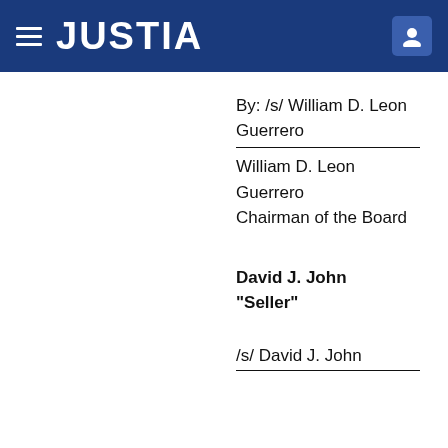JUSTIA
By: /s/ William D. Leon Guerrero
William D. Leon Guerrero
Chairman of the Board
David J. John
"Seller"
/s/ David J. John